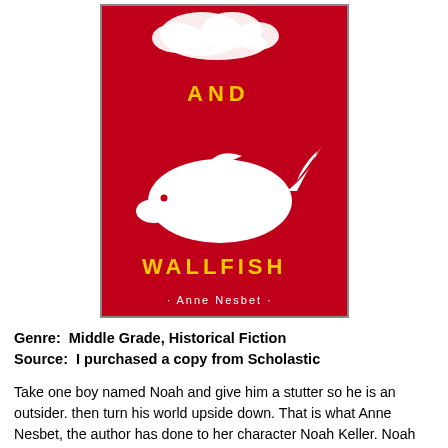[Figure (illustration): Book cover of 'And Wallfish' by Anne Nesbet. Red background with a white whale illustration and yellow text reading 'AND' and 'WALLFISH'. Author name shown as '· Anne Nesbet ·'. Faint map of Berlin visible in background.]
Genre:  Middle Grade, Historical Fiction
Source:  I purchased a copy from Scholastic
Take one boy named Noah and give him a stutter so he is an outsider. then turn his world upside down. That is what Anne Nesbet, the author has done to her character Noah Keller. Noah leaves his fifth-grade classroom and finds his mom and dad in a rental car. It is on the ride that they explain to him that his mom has the opportunity of a lifetime.  She is working on her dissertation about schools and children with